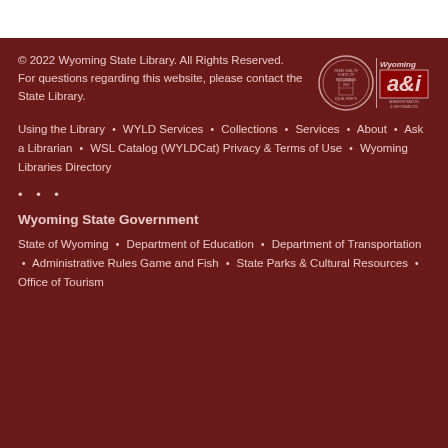© 2022 Wyoming State Library. All Rights Reserved.
For questions regarding this website, please contact the State Library.
[Figure (logo): Wyoming State seal and Administration & Information logo]
Using the Library • WYLD Services • Collections • Services • About • Ask a Librarian • WSL Catalog (WYLDCat) Privacy & Terms of Use • Wyoming Libraries Directory
• • •
Wyoming State Government
State of Wyoming • Department of Education • Department of Transportation • Administrative Rules Game and Fish • State Parks & Cultural Resources • Office of Tourism